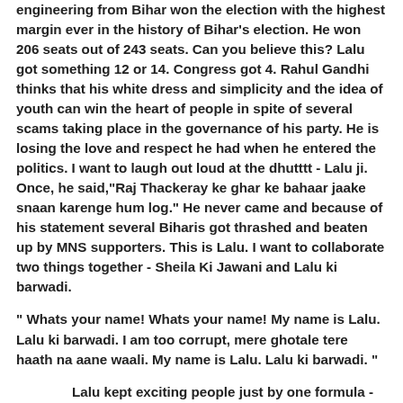engineering from Bihar won the election with the highest margin ever in the history of Bihar's election. He won 206 seats out of 243 seats. Can you believe this? Lalu got something 12 or 14. Congress got 4. Rahul Gandhi thinks that his white dress and simplicity and the idea of youth can win the heart of people in spite of several scams taking place in the governance of his party. He is losing the love and respect he had when he entered the politics. I want to laugh out loud at the dhutttt - Lalu ji. Once, he said,"Raj Thackeray ke ghar ke bahaar jaake snaan karenge hum log." He never came and because of his statement several Biharis got thrashed and beaten up by MNS supporters. This is Lalu. I want to collaborate two things together - Sheila Ki Jawani and Lalu ki barwadi.
" Whats your name! Whats your name! My name is Lalu. Lalu ki barwadi. I am too corrupt, mere ghotale tere haath na aane waali. My name is Lalu. Lalu ki barwadi. "
Lalu kept exciting people just by one formula - Raising the Muslims. I know religious discrimination is the biggest drawback of Indian society but you can't win the votes by collaborating the